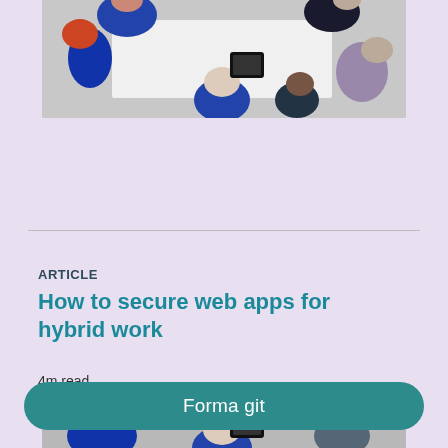[Figure (photo): Overhead view of people gathered around a white table, one person using a tablet device]
ARTICLE
How to secure web apps for hybrid work
4m read
[Figure (photo): Overhead view of people gathered around a table, partially visible at the bottom of the page]
Forma git